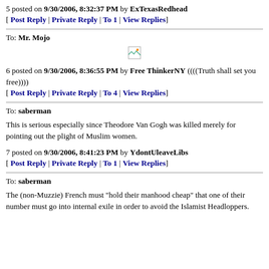5 posted on 9/30/2006, 8:32:37 PM by ExTexasRedhead
[ Post Reply | Private Reply | To 1 | View Replies]
To: Mr. Mojo
[Figure (other): Broken image placeholder]
6 posted on 9/30/2006, 8:36:55 PM by Free ThinkerNY ((((Truth shall set you free))))
[ Post Reply | Private Reply | To 4 | View Replies]
To: saberman
This is serious especially since Theodore Van Gogh was killed merely for pointing out the plight of Muslim women.
7 posted on 9/30/2006, 8:41:23 PM by YdontUleaveLibs
[ Post Reply | Private Reply | To 1 | View Replies]
To: saberman
The (non-Muzzie) French must "hold their manhood cheap" that one of their number must go into internal exile in order to avoid the Islamist Headloppers.